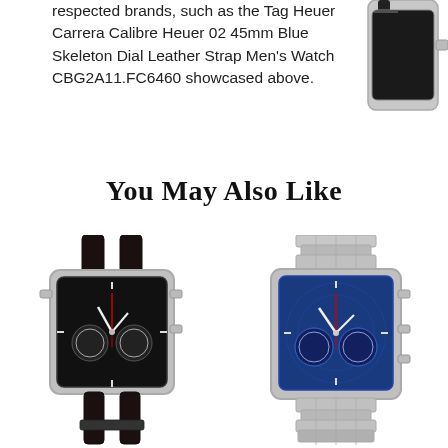respected brands, such as the Tag Heuer Carrera Calibre Heuer 02 45mm Blue Skeleton Dial Leather Strap Men's Watch CBG2A11.FC6460 showcased above.
[Figure (photo): Partial view of a TAG Heuer watch with leather strap, upper right corner]
You May Also Like
[Figure (photo): TAG Heuer Monaco square chronograph watch with black dial and black leather strap]
[Figure (photo): TAG Heuer Monaco square chronograph watch with blue dial and silver stainless steel bracelet]